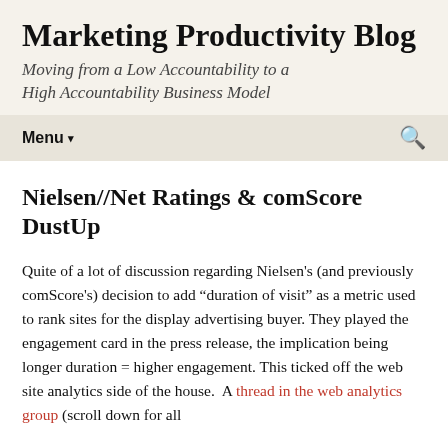Marketing Productivity Blog
Moving from a Low Accountability to a High Accountability Business Model
Menu ▾
Nielsen//Net Ratings & comScore DustUp
Quite of a lot of discussion regarding Nielsen's (and previously comScore's) decision to add “duration of visit” as a metric used to rank sites for the display advertising buyer. They played the engagement card in the press release, the implication being longer duration = higher engagement. This ticked off the web site analytics side of the house.  A thread in the web analytics group (scroll down for all